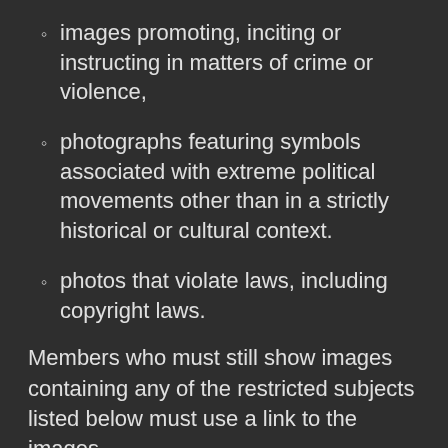images promoting, inciting or instructing in matters of crime or violence,
photographs featuring symbols associated with extreme political movements other than in a strictly historical or cultural context.
photos that violate laws, including copyright laws.
Members who must still show images containing any of the restricted subjects listed below must use a link to the images